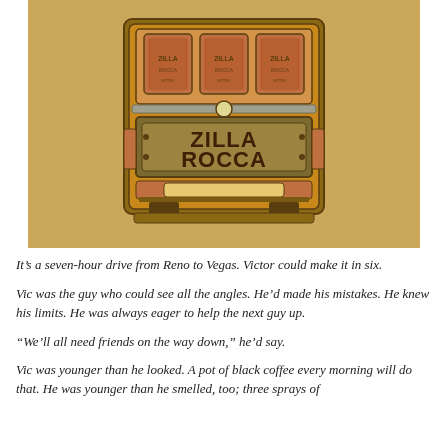[Figure (illustration): Illustration of a slot machine on a tan/kraft paper background. The machine is styled in retro design with orange and brown tones. The display panel shows the text 'ZILLA ROCCA' in large bold letters. The top of the machine has three reel windows showing coffee bag-like images. The machine has decorative yellow/gold border trim.]
It’s a seven-hour drive from Reno to Vegas. Victor could make it in six.
Vic was the guy who could see all the angles. He’d made his mistakes. He knew his limits. He was always eager to help the next guy up.
“We’ll all need friends on the way down,” he’d say.
Vic was younger than he looked. A pot of black coffee every morning will do that. He was younger than he smelled, too; three sprays of